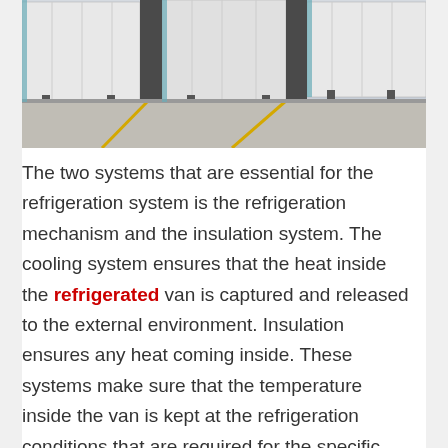[Figure (photo): Photograph of refrigerated semi-truck trailers parked at a loading dock, viewed from ground level showing the rear of white trailers with yellow lane markings on the concrete floor.]
The two systems that are essential for the refrigeration system is the refrigeration mechanism and the insulation system. The cooling system ensures that the heat inside the refrigerated van is captured and released to the external environment. Insulation ensures any heat coming inside. These systems make sure that the temperature inside the van is kept at the refrigeration conditions that are required for the specific